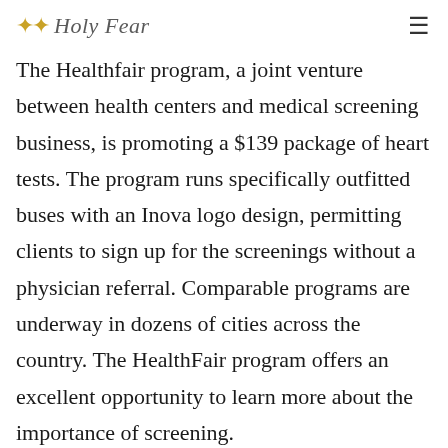Holy Fear
The Healthfair program, a joint venture between health centers and medical screening business, is promoting a $139 package of heart tests. The program runs specifically outfitted buses with an Inova logo design, permitting clients to sign up for the screenings without a physician referral. Comparable programs are underway in dozens of cities across the country. The HealthFair program offers an excellent opportunity to learn more about the importance of screening.